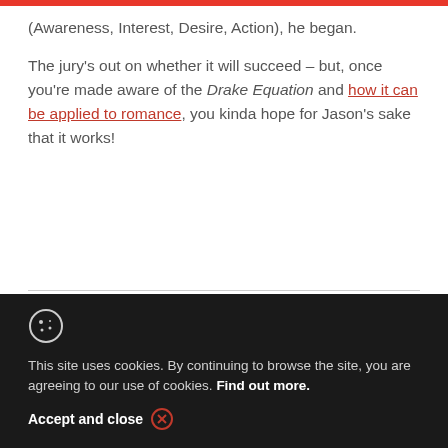(Awareness, Interest, Desire, Action), he began.
The jury's out on whether it will succeed – but, once you're made aware of the Drake Equation and how it can be applied to romance, you kinda hope for Jason's sake that it works!
Share this post
This site uses cookies. By continuing to browse the site, you are agreeing to our use of cookies. Find out more.
Accept and close